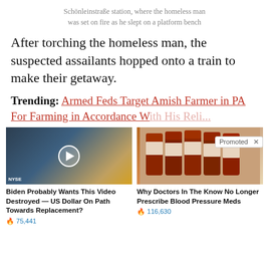Schönleinstraße station, where the homeless man was set on fire as he slept on a platform bench
After torching the homeless man, the suspected assailants hopped onto a train to make their getaway.
Trending: Armed Feds Target Amish Farmer in PA For Farming in Accordance With His Religion and Customs
[Figure (photo): Video thumbnail of a man in a dark suit in a TV studio setting with NYSE branding, with a play button overlay]
Biden Probably Wants This Video Destroyed — US Dollar On Path Towards Replacement?
75,441
[Figure (photo): Photo of several amber prescription pill bottles lined up on a white surface]
Why Doctors In The Know No Longer Prescribe Blood Pressure Meds
116,630